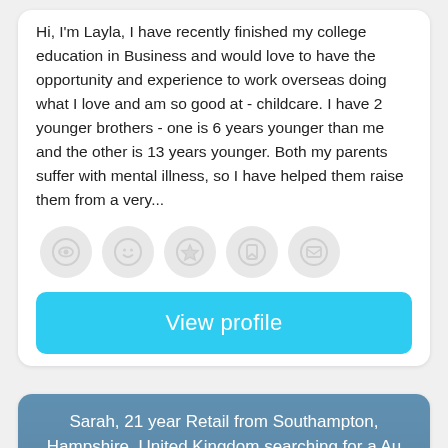Hi, I'm Layla, I have recently finished my college education in Business and would love to have the opportunity and experience to work overseas doing what I love and am so good at - childcare. I have 2 younger brothers - one is 6 years younger than me and the other is 13 years younger. Both my parents suffer with mental illness, so I have helped them raise them from a very...
[Figure (other): Row of 5 circular icon buttons (light grey): view/eye icon, smiley face icon, star icon, bookmark icon, message/envelope icon]
View profile
Sarah, 21 year Retail from Southampton, Hampshire, United Kingdom searching for a Au Pair and Nanny job in Australia, Italy, Netherlands, Hungary, Malta
[Figure (photo): Photo of a young blonde woman in a light interior setting, partially visible. UK flag badge in bottom right corner.]